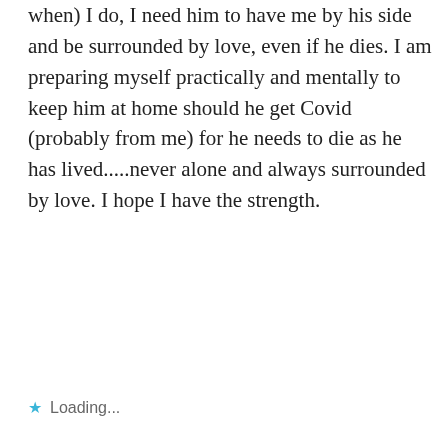when) I do, I need him to have me by his side and be surrounded by love, even if he dies. I am preparing myself practically and mentally to keep him at home should he get Covid (probably from me) for he needs to die as he has lived.....never alone and always surrounded by love. I hope I have the strength.
Loading...
[Figure (illustration): Generic gray avatar placeholder showing a person silhouette]
JAN MACPHAIL
March 26, 2020 at 11:13 am
Reply
Beautifully said with perfect images.